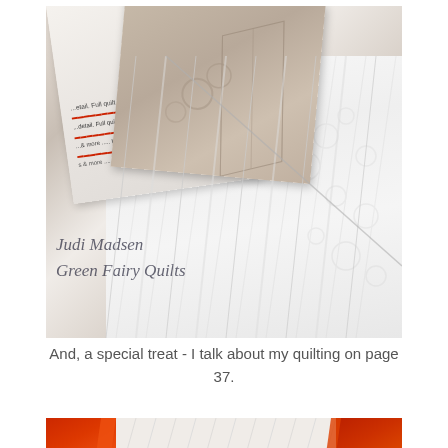[Figure (photo): Close-up photograph of white quilted fabric with diagonal strips and swirl/pebble quilting patterns. In the upper left, a magazine or book page is visible rotated at an angle showing partial text. A beige/taupe textured card or fabric sample is overlaid. Watermark text reads 'Judi Madsen Green Fairy Quilts'.]
And, a special treat - I talk about my quilting on page 37.
[Figure (photo): Partial bottom photograph showing white quilted fabric with red/orange fabric strips or patches visible at left and right sides of the frame.]